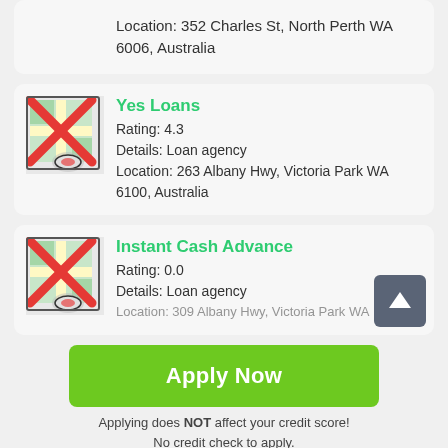Location: 352 Charles St, North Perth WA 6006, Australia
Yes Loans
Rating: 4.3
Details: Loan agency
Location: 263 Albany Hwy, Victoria Park WA 6100, Australia
Instant Cash Advance
Rating: 0.0
Details: Loan agency
Location: 309 Albany Hwy, Victoria Park WA
Apply Now
Applying does NOT affect your credit score!
No credit check to apply.